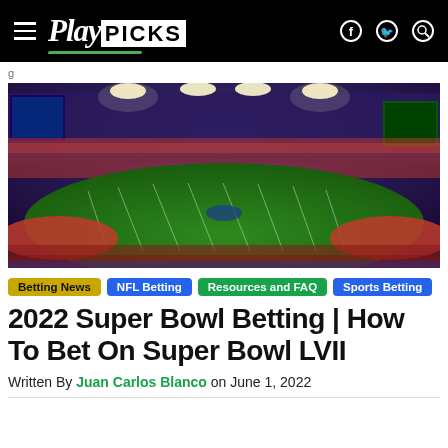PlayPICKS navigation bar with hamburger menu, logo, Facebook, Twitter, Search icons
[Figure (photo): Aerial wide-angle view of an NFL stadium at night during the Super Bowl, with green playing field lit up, packed stands, red end zones, and stadium lights blazing overhead in a purple-night sky.]
Betting News  NFL Betting  Resources and FAQ  Sports Betting
2022 Super Bowl Betting | How To Bet On Super Bowl LVII
Written By Juan Carlos Blanco on June 1, 2022